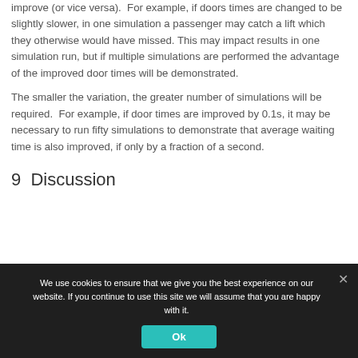improve (or vice versa). For example, if doors times are changed to be slightly slower, in one simulation a passenger may catch a lift which they otherwise would have missed. This may impact results in one simulation run, but if multiple simulations are performed the advantage of the improved door times will be demonstrated.
The smaller the variation, the greater number of simulations will be required. For example, if door times are improved by 0.1s, it may be necessary to run fifty simulations to demonstrate that average waiting time is also improved, if only by a fraction of a second.
9  Discussion
We use cookies to ensure that we give you the best experience on our website. If you continue to use this site we will assume that you are happy with it.